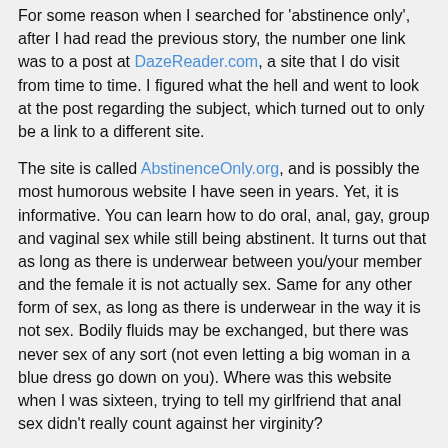For some reason when I searched for 'abstinence only', after I had read the previous story, the number one link was to a post at DazeReader.com, a site that I do visit from time to time. I figured what the hell and went to look at the post regarding the subject, which turned out to only be a link to a different site.
The site is called AbstinenceOnly.org, and is possibly the most humorous website I have seen in years. Yet, it is informative. You can learn how to do oral, anal, gay, group and vaginal sex while still being abstinent. It turns out that as long as there is underwear between you/your member and the female it is not actually sex. Same for any other form of sex, as long as there is underwear in the way it is not sex. Bodily fluids may be exchanged, but there was never sex of any sort (not even letting a big woman in a blue dress go down on you). Where was this website when I was sixteen, trying to tell my girlfriend that anal sex didn't really count against her virginity?